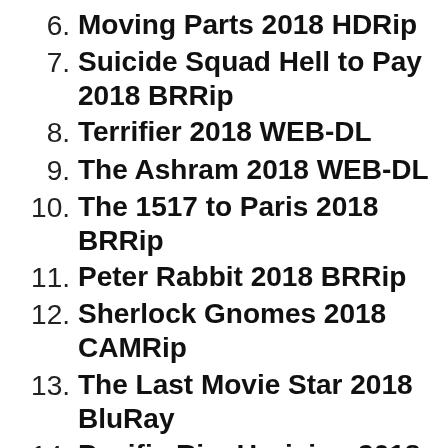6. Moving Parts 2018 HDRip
7. Suicide Squad Hell to Pay 2018 BRRip
8. Terrifier 2018 WEB-DL
9. The Ashram 2018 WEB-DL
10. The 1517 to Paris 2018 BRRip
11. Peter Rabbit 2018 BRRip
12. Sherlock Gnomes 2018 CAMRip
13. The Last Movie Star 2018 BluRay
14. Pacific Rim Uprising 2018 WEB-DL
15. Devils Gate HDRip
16. Project Eden Vol I WEB-DL